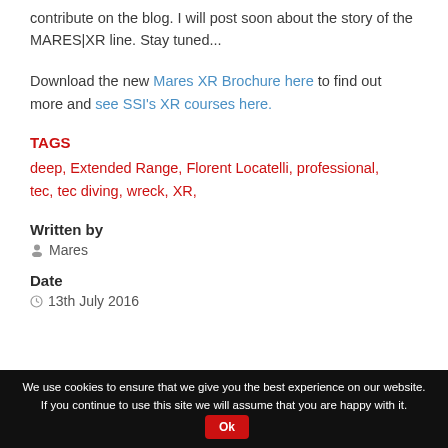contribute on the blog. I will post soon about the story of the MARES|XR line. Stay tuned...
Download the new Mares XR Brochure here to find out more and see SSI's XR courses here.
TAGS
deep, Extended Range, Florent Locatelli, professional, tec, tec diving, wreck, XR,
Written by
Mares
Date
13th July 2016
We use cookies to ensure that we give you the best experience on our website. If you continue to use this site we will assume that you are happy with it. Ok